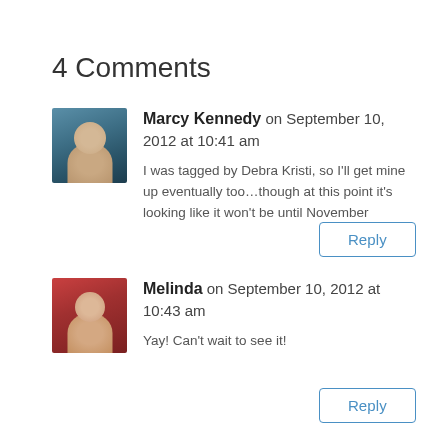4 Comments
Marcy Kennedy on September 10, 2012 at 10:41 am
I was tagged by Debra Kristi, so I'll get mine up eventually too...though at this point it's looking like it won't be until November
Reply
Melinda on September 10, 2012 at 10:43 am
Yay! Can't wait to see it!
Reply